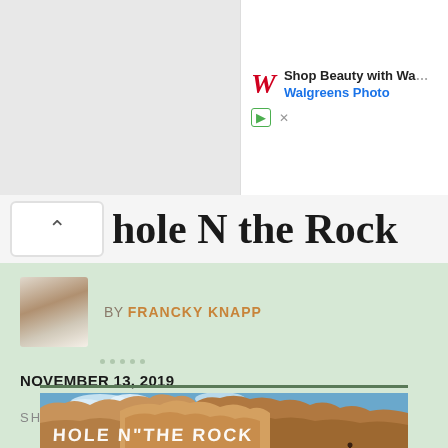[Figure (screenshot): Walgreens advertisement banner showing Walgreens logo and text 'Shop Beauty with Wa... Walgreens Photo' with a play button and close button icon]
hole N the Rock
BY FRANCKY KNAPP
NOVEMBER 13, 2019
SHARE
[Figure (photo): Photograph of large sandstone rock formation with 'HOLE N THE ROCK' painted in large white letters on the rock face, with blue sky in background]